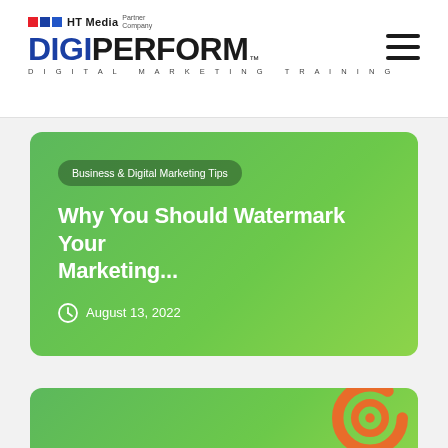HT Media Partner Company — DIGIPERFORM™ — DIGITAL MARKETING TRAINING
[Figure (screenshot): DigiPerform website blog listing page showing a green card with article title 'Why You Should Watermark Your Marketing...' dated August 13, 2022 under category Business & Digital Marketing Tips, and a partial second green card with orange spiral logo at bottom.]